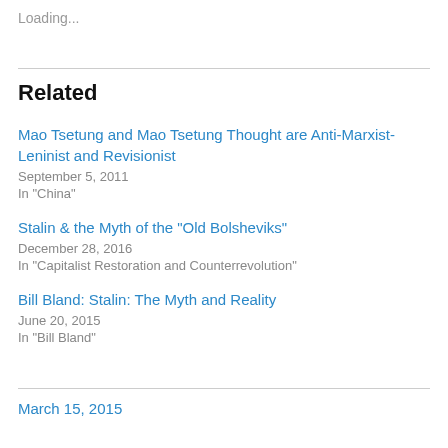Loading...
Related
Mao Tsetung and Mao Tsetung Thought are Anti-Marxist-Leninist and Revisionist
September 5, 2011
In "China"
Stalin & the Myth of the "Old Bolsheviks"
December 28, 2016
In "Capitalist Restoration and Counterrevolution"
Bill Bland: Stalin: The Myth and Reality
June 20, 2015
In "Bill Bland"
March 15, 2015